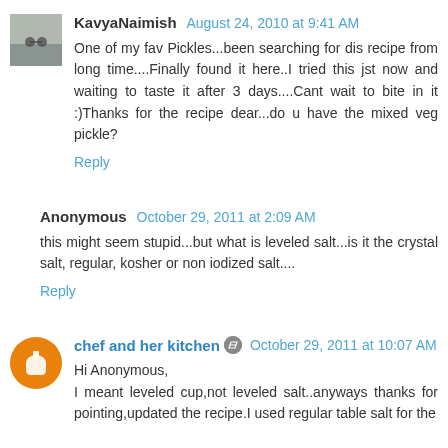KavyaNaimish August 24, 2010 at 9:41 AM
One of my fav Pickles...been searching for dis recipe from long time....Finally found it here..I tried this jst now and waiting to taste it after 3 days....Cant wait to bite in it :)Thanks for the recipe dear...do u have the mixed veg pickle?
Reply
Anonymous October 29, 2011 at 2:09 AM
this might seem stupid...but what is leveled salt...is it the crystal salt, regular, kosher or non iodized salt....
Reply
chef and her kitchen October 29, 2011 at 10:07 AM
Hi Anonymous,
I meant leveled cup,not leveled salt..anyways thanks for pointing,updated the recipe.I used regular table salt for the